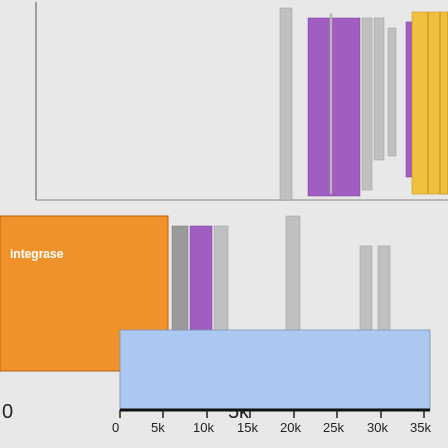[Figure (other): Genomic feature map showing colored blocks (orange integrase, purple, gray, yellow elements) arranged along a genomic coordinate axis from 0 to 5k (top panel), and a light blue horizontal bar spanning ~0 to 35k on a sequence scale (bottom panel with axis labels 0, 5k, 10k, 15k, 20k, 25k, 30k, 35k).]